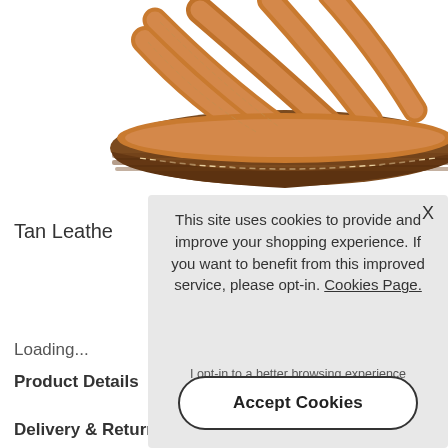[Figure (photo): Tan leather sandal with woven straps and brown rubber sole, shown from a side/top angle on a white background.]
Tan Leathe
Loading...
Product Details
Delivery & Returns
This site uses cookies to provide and improve your shopping experience. If you want to benefit from this improved service, please opt-in. Cookies Page.

I opt-in to a better browsing experience

Accept Cookies